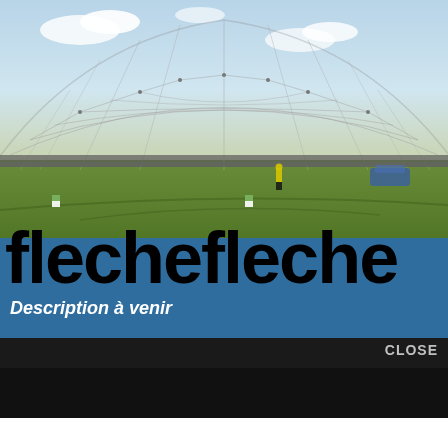[Figure (photo): Photograph of a large geodesic dome or grid-shell steel structure under clear sky, with green grass ground and a worker in yellow vest visible in the foreground. The structure has a diamond-patterned metal lattice frame.]
flechefleche
Description à venir
CLOSE
[Figure (other): Up arrow chevron button in blue square]
IMAGE